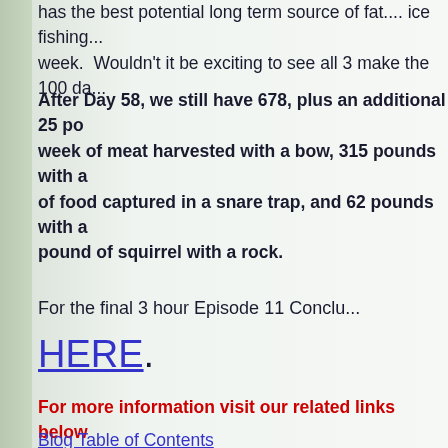has the best potential long term source of fat.... ice fishing... week.  Wouldn't it be exciting to see all 3 make the 100 da...
After Day 58, we still have 678, plus an additional 25 po... week of meat harvested with a bow, 315 pounds with a... of food captured in a snare trap, and 62 pounds with a... pound of squirrel with a rock.
For the final 3 hour Episode 11 Conclu... HERE.
For more information visit our related links below
Blog Table of Contents